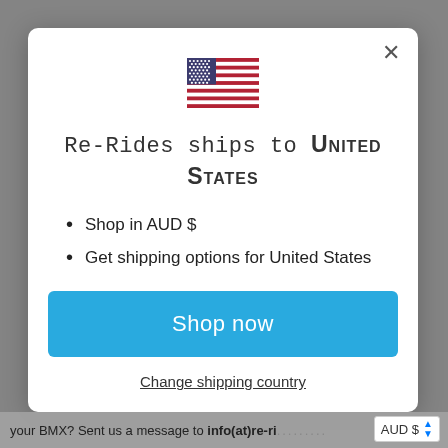[Figure (illustration): US flag emoji/icon displayed at top center of modal]
Re-Rides ships to United States
Shop in AUD $
Get shipping options for United States
Shop now
Change shipping country
your BMX? Sent us a message to info(at)re-ri... AUD $